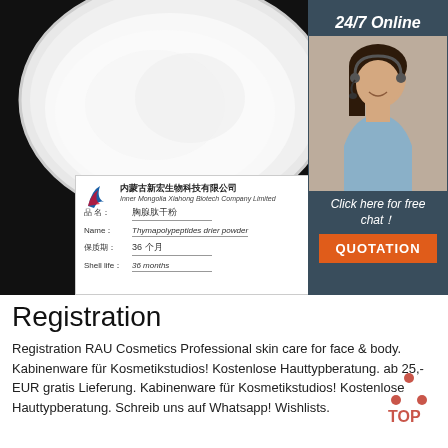[Figure (photo): Product photo showing white powder in a bowl on a dark background, with a company product label card showing Chinese and English text: 内蒙古新宏生物科技有限公司 / Inner Mongolia Xiahong Biotech Company Limited, product name: 胸腺肽干粉 / Thymapolypeptides drier powder, shelf life 36 个月 / 36 months. Right side has a dark blue sidebar with '24/7 Online' text and a customer service agent photo, 'Click here for free chat!' text, and an orange QUOTATION button.]
Registration
Registration RAU Cosmetics Professional skin care for face & body. Kabinenware für Kosmetikstudios! Kostenlose Hauttypberatung. ab 25,- EUR gratis Lieferung. Kabinenware für Kosmetikstudios! Kostenlose Hauttypberatung. Schreib uns auf Whatsapp! Wishlists.